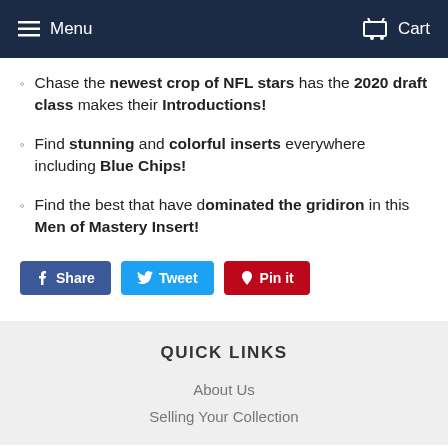Menu   Cart
Chase the newest crop of NFL stars has the 2020 draft class makes their Introductions!
Find stunning and colorful inserts everywhere including Blue Chips!
Find the best that have dominated the gridiron in this Men of Mastery Insert!
Share  Tweet  Pin it
QUICK LINKS
About Us
Selling Your Collection